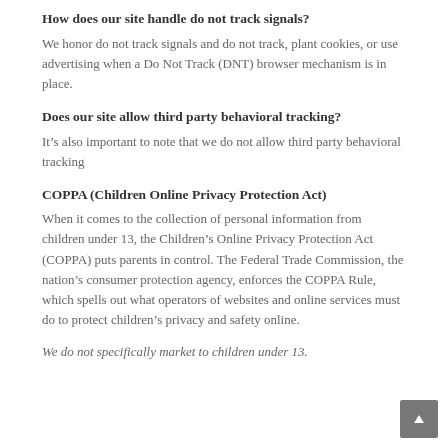How does our site handle do not track signals?
We honor do not track signals and do not track, plant cookies, or use advertising when a Do Not Track (DNT) browser mechanism is in place.
Does our site allow third party behavioral tracking?
It’s also important to note that we do not allow third party behavioral tracking
COPPA (Children Online Privacy Protection Act)
When it comes to the collection of personal information from children under 13, the Children’s Online Privacy Protection Act (COPPA) puts parents in control. The Federal Trade Commission, the nation’s consumer protection agency, enforces the COPPA Rule, which spells out what operators of websites and online services must do to protect children’s privacy and safety online.
We do not specifically market to children under 13.